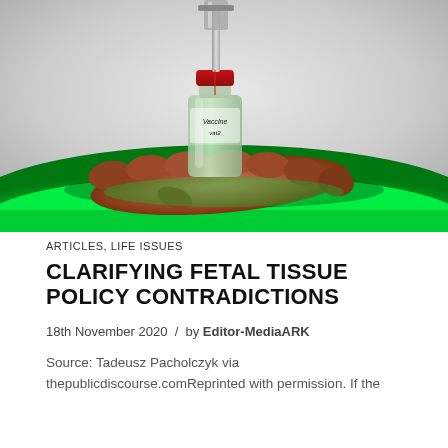[Figure (photo): A hand holding a small vaccine vial labeled 'Vaccine' with a syringe being inserted into it, illuminated by a green glowing light from below on a light grey background.]
ARTICLES, LIFE ISSUES
CLARIFYING FETAL TISSUE POLICY CONTRADICTIONS
18th November 2020 / by Editor-MediaARK
Source: Tadeusz Pacholczyk via thepublicdiscourse.comReprinted with permission. If the